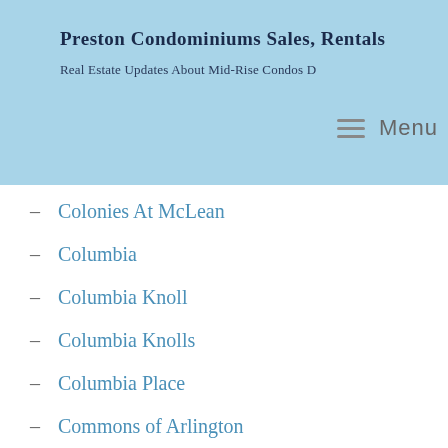Preston Condominiums Sales, Rentals
Real Estate Updates About Mid-Rise Condos D
Colonies At McLean
Columbia
Columbia Knoll
Columbia Knolls
Columbia Place
Commons of Arlington
Condo Communities
condos